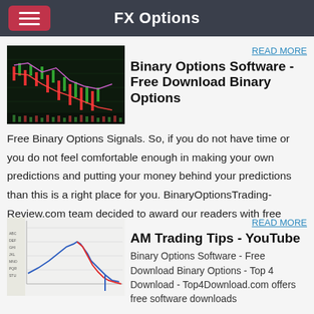FX Options
READ MORE
[Figure (screenshot): Trading chart showing candlestick and line data on dark background]
Binary Options Software - Free Download Binary Options
Free Binary Options Signals. So, if you do not have time or you do not feel comfortable enough in making your own predictions and putting your money behind your predictions than this is a right place for you. BinaryOptionsTrading-Review.com team decided to award our readers with free Binary Options …
READ MORE
[Figure (screenshot): Trading chart with blue and red price lines on white background]
AM Trading Tips - YouTube
Binary Options Software - Free Download Binary Options - Top 4 Download - Top4Download.com offers free software downloads for Windows, Mac, iOS and Android computers and mobile devices